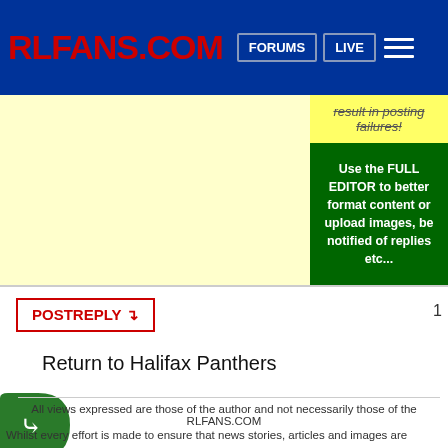RLFANS.COM | FORUMS | LIVE
result in posting failures!
Use the FULL EDITOR to better format content or upload images, be notified of replies etc...
POSTREPLY
1
Return to Halifax Panthers
[Figure (logo): Green D-shaped back/reply icon button]
All views expressed are those of the author and not necessarily those of the RLFANS.COM
Whilst every effort is made to ensure that news stories, articles and images are correct, we cannot be held responsible for errors. However, if you feel any material on this website is copyrighted or incorrect in any way ple...